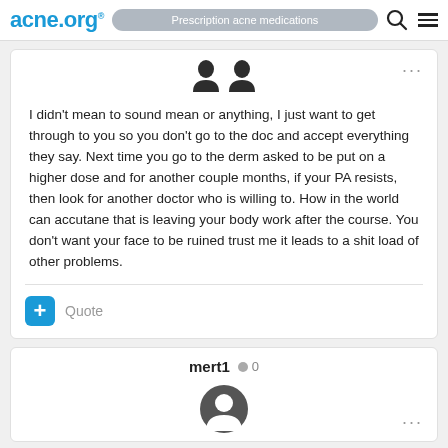acne.org® | Prescription acne medications
[Figure (illustration): Two dark user avatar silhouette icons side by side, with three dots menu icon at top right of post card]
I didn't mean to sound mean or anything, I just want to get through to you so you don't go to the doc and accept everything they say. Next time you go to the derm asked to be put on a higher dose and for another couple months, if your PA resists, then look for another doctor who is willing to. How in the world can accutane that is leaving your body work after the course. You don't want your face to be ruined trust me it leads to a shit load of other problems.
Quote
mert1 ● 0
[Figure (illustration): User avatar icon (circle with person silhouette) and three dots menu icon]